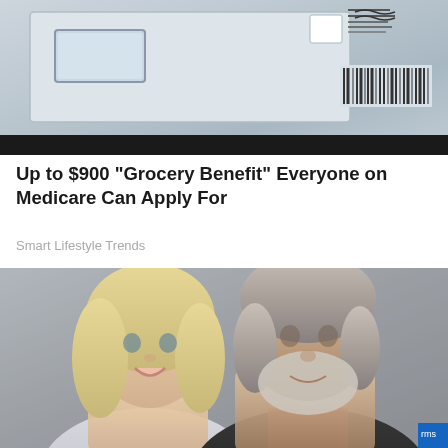[Figure (photo): Close-up photo of an envelope or mail piece, showing a window cutout and barcode/stamp area, with a dark bottom edge]
Up to $900 "Grocery Benefit" Everyone on Medicare Can Apply For
Smart Lifestyle Trends
[Figure (photo): Photo of two people smiling at the camera — a blonde woman on the left and an older man with gray hair and beard on the right]